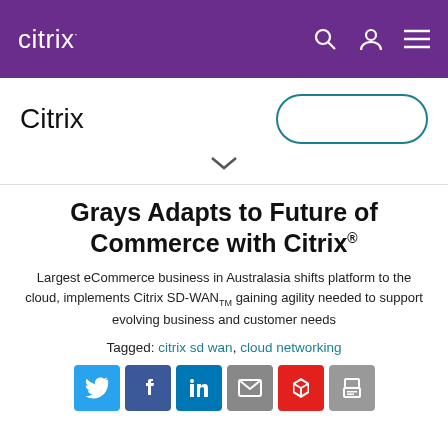citrix
Citrix
Grays Adapts to Future of Commerce with Citrix®
Largest eCommerce business in Australasia shifts platform to the cloud, implements Citrix SD-WAN™ gaining agility needed to support evolving business and customer needs
Tagged: citrix sd wan, cloud networking
[Figure (infographic): Social sharing icons: Twitter, Facebook, LinkedIn, Email, Adobe Acrobat, Print]